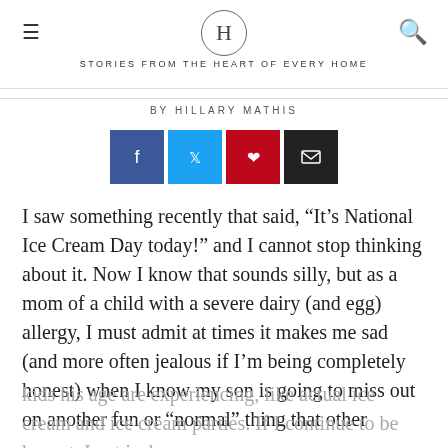H — STORIES FROM THE HEART OF EVERY HOME
BY HILLARY MATHIS
[Figure (infographic): Social share buttons: Facebook (blue), Twitter (light blue), Pinterest (red), Email (black)]
I saw something recently that said, “It’s National Ice Cream Day today!” and I cannot stop thinking about it. Now I know that sounds silly, but as a mom of a child with a severe dairy (and egg) allergy, I must admit at times it makes me sad (and more often jealous if I’m being completely honest) when I know my son is going to miss out on another fun or “normal” thing that other kids his age are experiencing, like actual ice cream and ice cream parties. If I continue to be honest, I get jealous